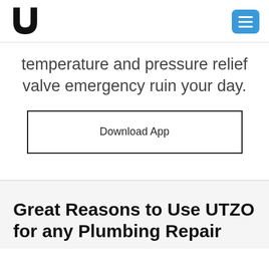UTZO logo and navigation menu
temperature and pressure relief valve emergency ruin your day.
Download App
Great Reasons to Use UTZO for any Plumbing Repair